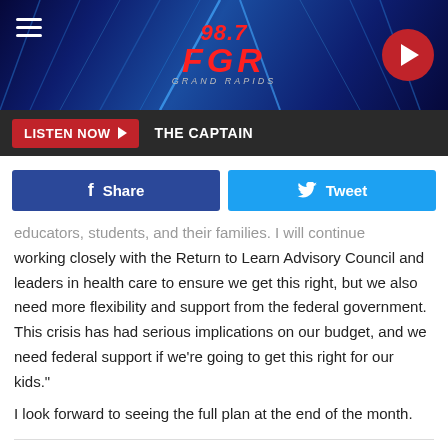[Figure (screenshot): 98.7 FGR Grand Rapids radio station header banner with blue neon background, hamburger menu icon on left, red 98.7 FGR logo in center, red circular play button on right]
LISTEN NOW ▶  THE CAPTAIN
f Share   🐦 Tweet
educators, students, and their families. I will continue working closely with the Return to Learn Advisory Council and leaders in health care to ensure we get this right, but we also need more flexibility and support from the federal government. This crisis has had serious implications on our budget, and we need federal support if we're going to get this right for our kids."
I look forward to seeing the full plan at the end of the month.
WEST MICHIGAN ART TEACHER SPREADS